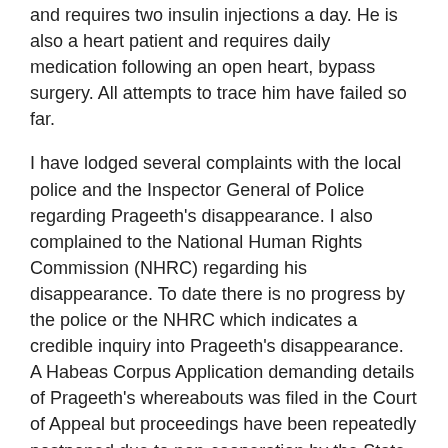and requires two insulin injections a day. He is also a heart patient and requires daily medication following an open heart, bypass surgery. All attempts to trace him have failed so far.
I have lodged several complaints with the local police and the Inspector General of Police regarding Prageeth's disappearance. I also complained to the National Human Rights Commission (NHRC) regarding his disappearance. To date there is no progress by the police or the NHRC which indicates a credible inquiry into Prageeth's disappearance. A Habeas Corpus Application demanding details of Prageeth's whereabouts was filed in the Court of Appeal but proceedings have been repeatedly postponed due to non-cooperation by the State.
I have also submitted letters pleading for information on Prageeth to the Attorney General of Sri Lanka, the Presidential Secretariat and key Government and Opposition figures. Details of the case have been sent to the U.N. Working Group on Enforced and Involuntary Disappearances and the UN Panel of